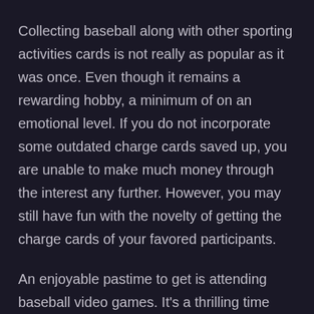Collecting baseball along with other sporting activities cards is not really as popular as it was once. Even though it remains a rewarding hobby, a minimum of on an emotional level. If you do not incorporate some outdated charge cards saved up, you are unable to make much money through the interest any further. However, you may still have fun with the novelty of getting the charge cards of your favored participants.
An enjoyable pastime to get is attending baseball video games. It's a thrilling time because of the crowds of people and all the foodstuff. You can also flaunt your crews colours. A superstar or two might even remain in the group. It's the right interest to